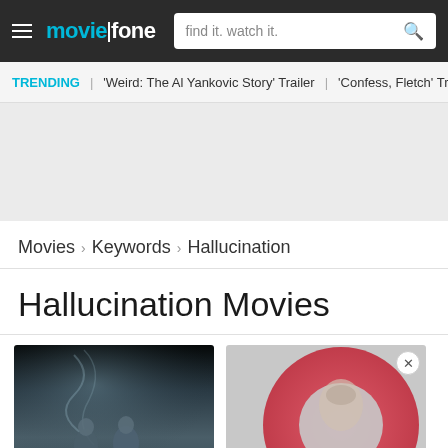moviefone — find it. watch it.
TRENDING  'Weird: The Al Yankovic Story' Trailer  'Confess, Fletch' Tr
[Figure (other): Advertisement placeholder, light gray background]
Movies › Keywords › Hallucination
Hallucination Movies
[Figure (photo): Dark misty scene showing two figures in blue-gray fog, movie poster style]
[Figure (photo): Advertisement or movie card with large red/pink circular shape and a face visible, close button (X) in top-right corner]